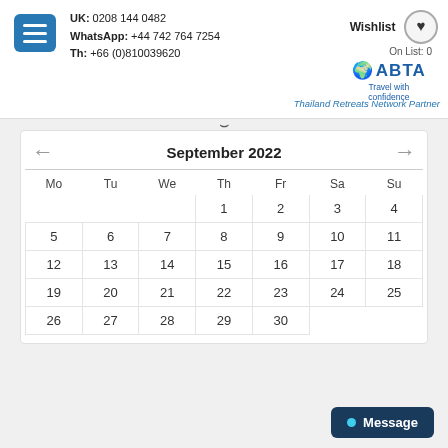UK: 0208 144 0482 | WhatsApp: +44 742 764 7254 | Th: +66 (0)810039620 | Wishlist On List: 0 | ABTA Travel with confidence | Thailand Retreats Network Partner
[Figure (other): Calendar showing September 2022 with navigation arrows, days Mo Tu We Th Fr Sa Su, dates 1-30]
Message